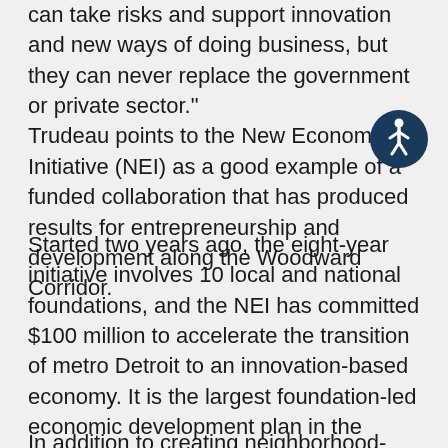can take risks and support innovation and new ways of doing business, but they can never replace the government or private sector." Trudeau points to the New Economy Initiative (NEI) as a good example of a funded collaboration that has produced results for entrepreneurship and development along the Woodward Corridor.
[Figure (illustration): Accessibility icon: dark blue circle with white wheelchair-accessible person figure]
Started two years ago, the eight-year initiative involves 10 local and national foundations, and the NEI has committed $100 million to accelerate the transition of metro Detroit to an innovation-based economy. It is the largest foundation-led economic development plan in the country.
In addition to creating neighborhood-based